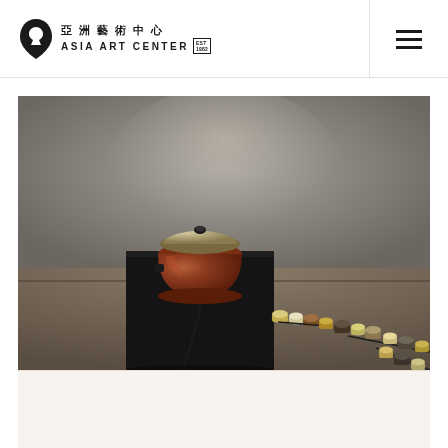亞洲藝術中心 ASIA ART CENTER | EST 1982
[Figure (photo): Art installation photograph showing a red/brown rice cooker on a black pedestal in a gallery space. A chain of cylindrical objects (appearing to be batteries or similar items) extends from the base of the pedestal along the gallery floor toward the right side of the frame. The background is a neutral grey gallery wall.]